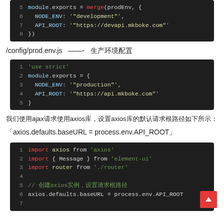[Figure (screenshot): Code block showing module.exports = merge(prodEnv, { NODE_ENV: '"development"', API_ROOT: '"https://devapi.mkboke.com"' })  lines 5-8]
/config/prod.env.js  —-  生产环境配置
[Figure (screenshot): Code block showing prod.env.js: 'use strict' module.exports = { NODE_ENV: '"production"', API_ROOT: '"https://api.mkboke.com"' }]
我们使用ajax请求使用axios库，设置axios库的默认请求根路径如下所示：
「axios.defaults.baseURL = process.env.API_ROOT」
[Figure (screenshot): Code block showing: import axios from 'axios', import { Message } from 'element-ui', import router from './router', // 创建axios实例,设置请求根路径, axios.defaults.baseURL = process.env.API_ROOT]